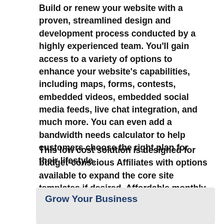Build or renew your website with a proven, streamlined design and development process conducted by a highly experienced team. You'll gain access to a variety of options to enhance your website's capabilities, including maps, forms, contests, embedded videos, embedded social media feeds, live chat integration, and much more. You can even add a bandwidth needs calculator to help customers choose the right plan for their lifestyle.
This low cost solution is designed for budget-conscious Affiliates with options available to expand the core site templates if desired. Affordable monthly maintenance includes hosting, security patches, and reasonable content updates.
Grow Your Business